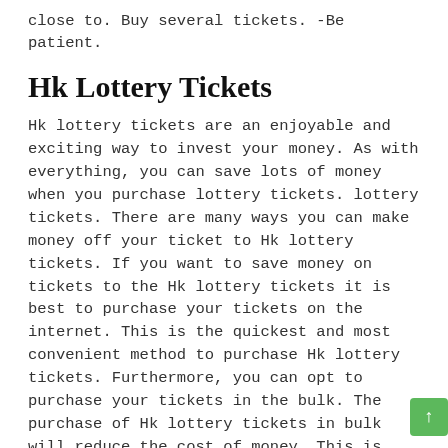close to. Buy several tickets. -Be patient.
Hk Lottery Tickets
Hk lottery tickets are an enjoyable and exciting way to invest your money. As with everything, you can save lots of money when you purchase lottery tickets. lottery tickets. There are many ways you can make money off your ticket to Hk lottery tickets. If you want to save money on tickets to the Hk lottery tickets it is best to purchase your tickets on the internet. This is the quickest and most convenient method to purchase Hk lottery tickets. Furthermore, you can opt to purchase your tickets in the bulk. The purchase of Hk lottery tickets in bulk will reduce the cost of money. This is especially true if you are a big winner and want to purchase many Hk lottery tickets to be able to cash in the winnings. Another way to save money on your Hk lottery tickets is to ensure you buy the right kind of lottery ticket. You must ensure you purchase an Hk lottery ticket that provides the